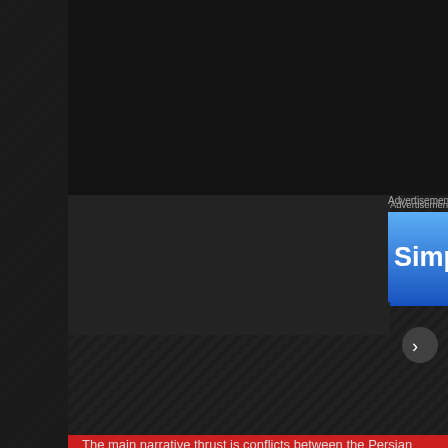[Figure (screenshot): Dark textured background with diagonal pattern stripe on left panel]
Advertisements
[Figure (screenshot): Blue gradient advertisement banner with text 'Simplified pricing fo...' (truncated)]
The main narrative thrust is conflicts between the Persian Empire fifth century BC (499-449 BC).  The battle of Marathon, the last-sta Thermopylae, that Persian war!  And note that Herodotus was nei some accounts he was just a well traveled merchant of sorts, curio
Privacy & Cookies: This site uses cookies. By continuing to use this website, you agree to their use.
To find out more, including how to control cookies, see here: Cookie Policy
Close and accept